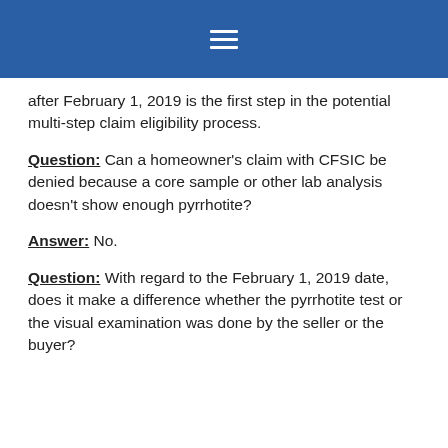[Navigation header with hamburger menu]
after February 1, 2019 is the first step in the potential multi-step claim eligibility process.
Question: Can a homeowner's claim with CFSIC be denied because a core sample or other lab analysis doesn't show enough pyrrhotite?
Answer: No.
Question: With regard to the February 1, 2019 date, does it make a difference whether the pyrrhotite test or the visual examination was done by the seller or the buyer?